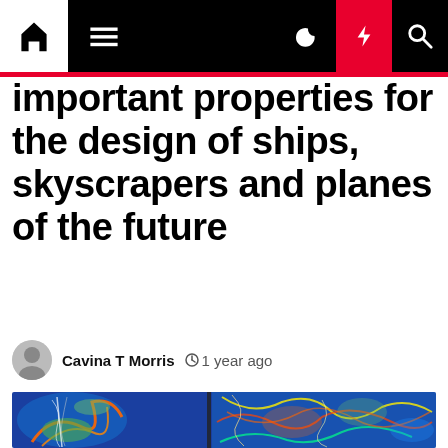Navigation bar with home, menu, dark mode, lightning, and search icons
important properties for the design of ships, skyscrapers and planes of the future
Cavina T Morris  1 year ago
[Figure (illustration): Colorful fluid dynamics simulation showing turbulent flow patterns around objects, with blue background and orange, green, white swirling flows]